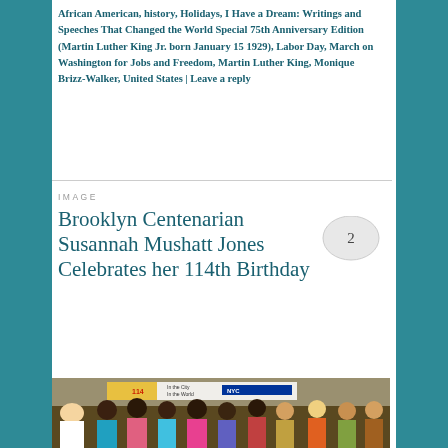African American, history, Holidays, I Have a Dream: Writings and Speeches That Changed the World Special 75th Anniversary Edition (Martin Luther King Jr. born January 15 1929), Labor Day, March on Washington for Jobs and Freedom, Martin Luther King, Monique Brizz-Walker, United States | Leave a reply
IMAGE
Brooklyn Centenarian Susannah Mushatt Jones Celebrates her 114th Birthday
[Figure (photo): Group photo of people gathered at a birthday celebration for Susannah Mushatt Jones's 114th birthday, with a banner visible in the background reading '114' and NYC branding.]